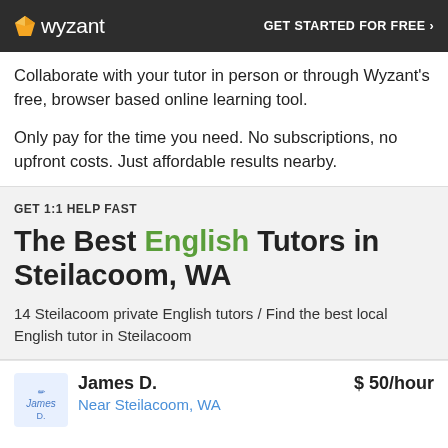wyzant   GET STARTED FOR FREE ›
Collaborate with your tutor in person or through Wyzant's free, browser based online learning tool.
Only pay for the time you need. No subscriptions, no upfront costs. Just affordable results nearby.
GET 1:1 HELP FAST
The Best English Tutors in Steilacoom, WA
14 Steilacoom private English tutors / Find the best local English tutor in Steilacoom
James D.   $ 50/hour
Near Steilacoom, WA